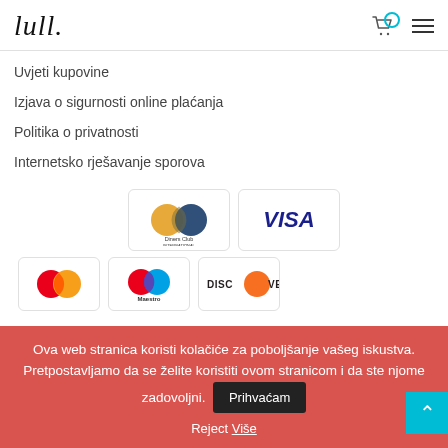lull. [logo] [cart icon] [hamburger menu]
Uvjeti kupovine
Izjava o sigurnosti online plaćanja
Politika o privatnosti
Internetsko rješavanje sporova
[Figure (other): Payment method icons: Diners Club International, VISA, Mastercard, Maestro, Discover]
Ova web stranica koristi kolačiće za poboljšanje vašeg iskustva. Pretpostavljamo da se želite koristiti ovom stranicom i da ste njome zadovoljni. [Prihvaćam button] Reject Više